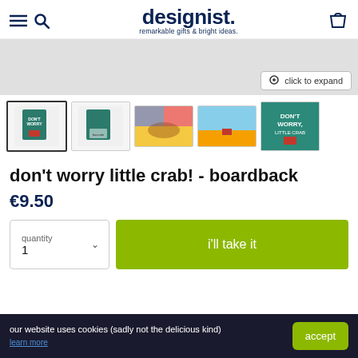designist. remarkable gifts & bright ideas.
[Figure (screenshot): Product image main area with click to expand button]
[Figure (photo): Five product thumbnail images: two showing the boardback book cover (front and back), colorful art interior, landscape illustration, and teal cover with white text saying DON'T WORRY LITTLE CRAB]
don't worry little crab! - boardback
€9.50
quantity 1
i'll take it
our website uses cookies (sadly not the delicious kind)
learn more
accept